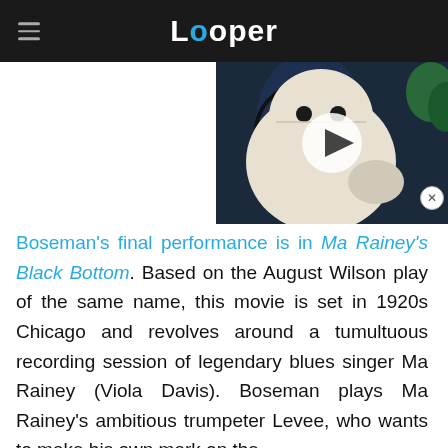Looper
[Figure (screenshot): Video thumbnail showing Baymax character from Big Hero 6 with a play button overlay]
Boseman's final performance is in Ma Rainey's Black Bottom. Based on the August Wilson play of the same name, this movie is set in 1920s Chicago and revolves around a tumultuous recording session of legendary blues singer Ma Rainey (Viola Davis). Boseman plays Ma Rainey's ambitious trumpeter Levee, who wants to make his own mark on the music industry.